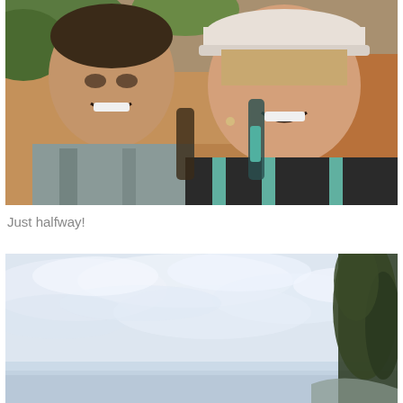[Figure (photo): Selfie of a man and woman smiling on a hiking trail with orange-red dirt and green trees in the background. The man is on the left wearing a grey shirt, the woman on the right is wearing a white cap and a dark striped tank top.]
Just halfway!
[Figure (photo): Landscape photo showing a wide cloudy sky with light grey-white clouds. Dark green trees are visible on the right edge. A distant mountain or cliff is faintly visible at the bottom right.]